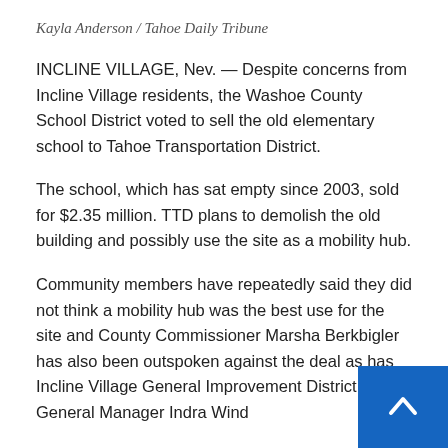Kayla Anderson / Tahoe Daily Tribune
INCLINE VILLAGE, Nev. — Despite concerns from Incline Village residents, the Washoe County School District voted to sell the old elementary school to Tahoe Transportation District.
The school, which has sat empty since 2003, sold for $2.35 million. TTD plans to demolish the old building and possibly use the site as a mobility hub.
Community members have repeatedly said they did not think a mobility hub was the best use for the site and County Commissioner Marsha Berkbigler has also been outspoken against the deal as has Incline Village General Improvement District General Manager Indra Wind
“That’s a challenging part of town for a transportation hub,” Wingo told the Tribune. “It’s a safe t